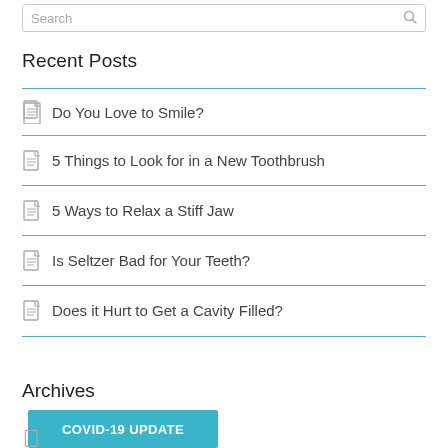Search
Recent Posts
Do You Love to Smile?
5 Things to Look for in a New Toothbrush
5 Ways to Relax a Stiff Jaw
Is Seltzer Bad for Your Teeth?
Does it Hurt to Get a Cavity Filled?
Archives
COVID-19 UPDATE